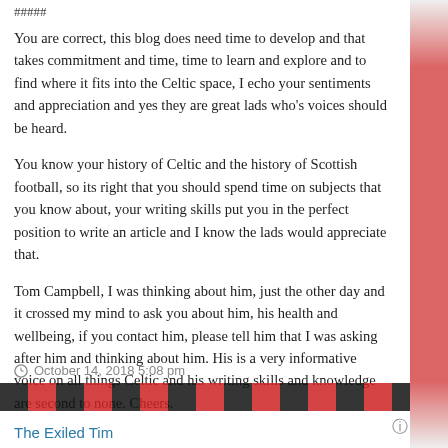You are correct, this blog does need time to develop and that takes commitment and time, time to learn and explore and to find where it fits into the Celtic space, I echo your sentiments and appreciation and yes they are great lads who's voices should be heard.
You know your history of Celtic and the history of Scottish football, so its right that you should spend time on subjects that you know about, your writing skills put you in the perfect position to write an article and I know the lads would appreciate that.
Tom Campbell, I was thinking about him, just the other day and it crossed my mind to ask you about him, his health and wellbeing, if you contact him, please tell him that I was asking after him and thinking about him. His is a very informative voice on all things Celtic and his writing skills and knowledge are second to none. Cheers.
October 14, 2018 5:08 pm
The Exiled Tim